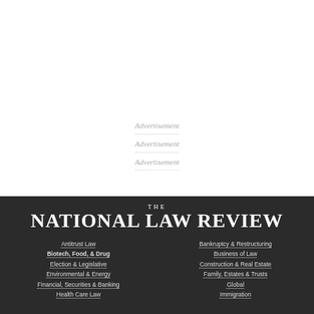Advertisement
Advertisement
Advertisement
[Figure (logo): The National Law Review logo in white text on dark background]
Antitrust Law
Biotech, Food, & Drug
Election & Legislative
Environmental & Energy
Financial, Securities & Banking
Health Care Law
Bankruptcy & Restructuring
Business of Law
Construction & Real Estate
Family, Estates & Trusts
Global
Immigration